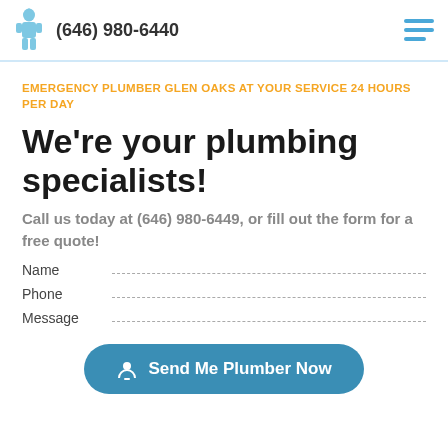(646) 980-6440
EMERGENCY PLUMBER GLEN OAKS AT YOUR SERVICE 24 HOURS PER DAY
We're your plumbing specialists!
Call us today at (646) 980-6449, or fill out the form for a free quote!
Name
Phone
Message
Send Me Plumber Now